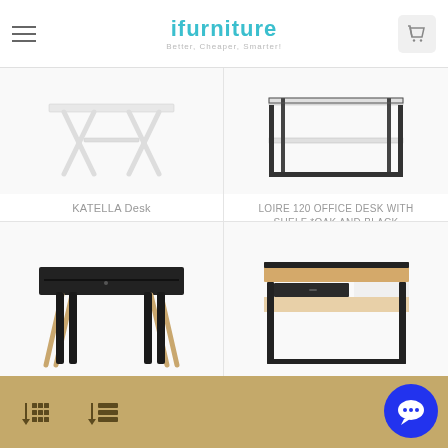ifurniture – Better, Cheaper, Smarter!
[Figure (photo): KATELLA Desk product photo – white X-frame desk on white background]
KATELLA Desk
$119.00
[Figure (photo): LOIRE 120 OFFICE DESK WITH SHELF *OAK AND BLACK product photo – black metal frame desk on white background]
LOIRE 120 OFFICE DESK WITH SHELF *OAK AND BLACK
$209.00
[Figure (photo): Black desk with gold X-frame legs and single drawer – bottom left product]
[Figure (photo): Oak and black desk with black metal legs and open shelf – bottom right product]
Sort and filter icons bar